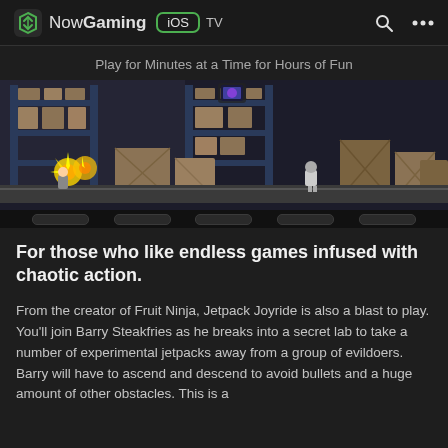NowGaming iOS TV
Play for Minutes at a Time for Hours of Fun
[Figure (screenshot): Side-scrolling action game screenshot showing a warehouse level with wooden crates, metal shelving units, and characters. A player character in the lower left is surrounded by golden star/explosion effects, and another small character (robot/ninja) is visible in the center. The background shows a dark warehouse with blue metal shelving filled with boxes.]
For those who like endless games infused with chaotic action.
From the creator of Fruit Ninja, Jetpack Joyride is also a blast to play. You'll join Barry Steakfries as he breaks into a secret lab to take a number of experimental jetpacks away from a group of evildoers. Barry will have to ascend and descend to avoid bullets and a huge amount of other obstacles. This is a